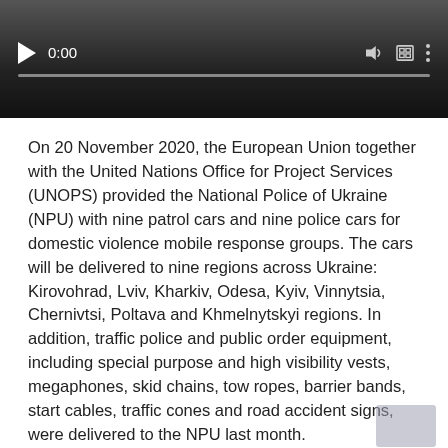[Figure (screenshot): Video player with dark gradient background, play button, 0:00 timestamp, volume icon, fullscreen icon, menu icon, and a progress bar at the bottom.]
On 20 November 2020, the European Union together with the United Nations Office for Project Services (UNOPS) provided the National Police of Ukraine (NPU) with nine patrol cars and nine police cars for domestic violence mobile response groups. The cars will be delivered to nine regions across Ukraine: Kirovohrad, Lviv, Kharkiv, Odesa, Kyiv, Vinnytsia, Chernivtsi, Poltava and Khmelnytskyi regions. In addition, traffic police and public order equipment, including special purpose and high visibility vests, megaphones, skid chains, tow ropes, barrier bands, start cables, traffic cones and road accident signs, were delivered to the NPU last month.